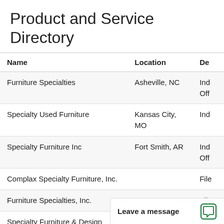Product and Service Directory
| Name | Location | De |
| --- | --- | --- |
| Furniture Specialties | Asheville, NC | Ind
Off |
| Specialty Used Furniture | Kansas City, MO | Ind |
| Specialty Furniture Inc | Fort Smith, AR | Ind
Off |
| Complax Specialty Furniture, Inc. |  | File |
| Furniture Specialties, Inc. |  | File |
| Specialty Furniture & Design
(337) 463-6918 | Deridder, LA | Ind
Off |
| Specialty Furniture F |  |  |
Leave a message